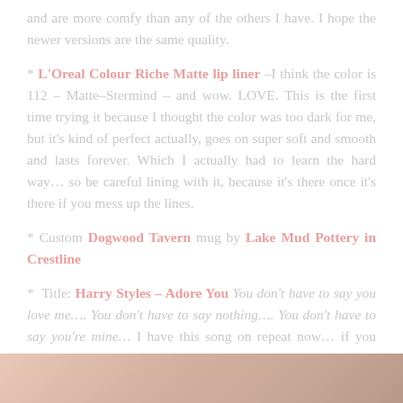and are more comfy than any of the others I have. I hope the newer versions are the same quality.
* L'Oreal Colour Riche Matte lip liner –I think the color is 112 – Matte–Stermind – and wow. LOVE. This is the first time trying it because I thought the color was too dark for me, but it's kind of perfect actually, goes on super soft and smooth and lasts forever. Which I actually had to learn the hard way… so be careful lining with it, because it's there once it's there if you mess up the lines.
* Custom Dogwood Tavern mug by Lake Mud Pottery in Crestline
* Title: Harry Styles – Adore You  You don't have to say you love me…. You don't have to say nothing…. You don't have to say you're mine… I have this song on repeat now… if you haven't seen the video yet, click the link. It's bizarre but worth the watch.
[Figure (photo): Partial photo at the bottom of the page showing warm pinkish-brown tones]